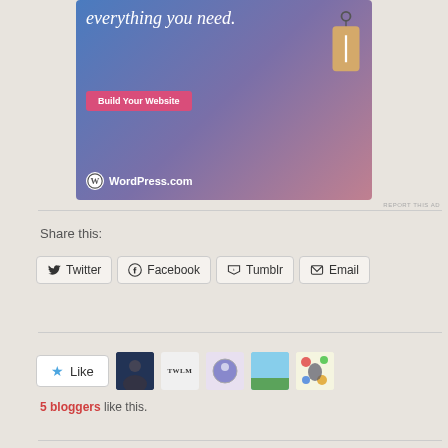[Figure (screenshot): WordPress.com advertisement banner with gradient blue-purple-pink background, 'everything you need.' text, pink 'Build Your Website' button, price tag illustration, and WordPress.com logo]
REPORT THIS AD
Share this:
Twitter  Facebook  Tumblr  Email
[Figure (infographic): Like button with star icon and five blogger avatar thumbnails below it]
5 bloggers like this.